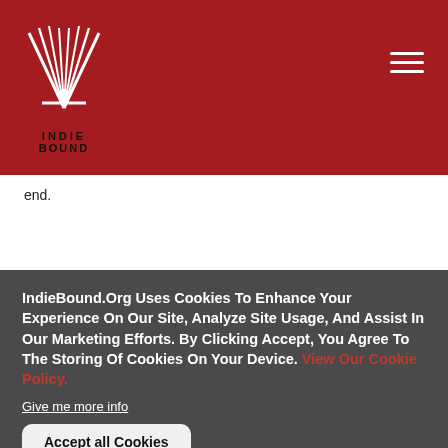[Figure (logo): IndieBound logo — stylized book/wing graphic in white on red background with 'INDIEBOUND' text below]
end.
IndieBound.Org Uses Cookies To Enhance Your Experience On Our Site, Analyze Site Usage, And Assist In Our Marketing Efforts. By Clicking Accept, You Agree To The Storing Of Cookies On Your Device. View Our Cookie Policy.
Give me more info
Accept all Cookies